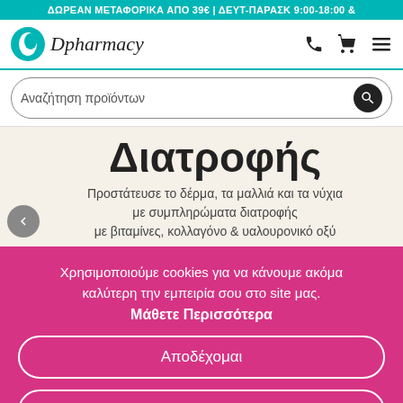ΔΩΡΕΑΝ ΜΕΤΑΦΟΡΙΚΑ ΑΠΟ 39€ | ΔΕΥΤ-ΠΑΡΑΣΚ 9:00-18:00 &
[Figure (logo): Dpharmacy logo with teal circle icon and cursive text]
Αναζήτηση προϊόντων
Διατροφής
Προστάτευσε το δέρμα, τα μαλλιά και τα νύχια με συμπληρώματα διατροφής με βιταμίνες, κολλαγόνο & υαλουρονικό οξύ
Χρησιμοποιούμε cookies για να κάνουμε ακόμα καλύτερη την εμπειρία σου στο site μας.
Μάθετε Περισσότερα
Αποδέχομαι
Προτιμήσεις